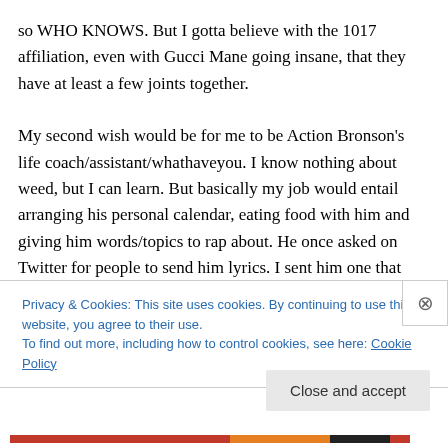so WHO KNOWS. But I gotta believe with the 1017 affiliation, even with Gucci Mane going insane, that they have at least a few joints together.

My second wish would be for me to be Action Bronson's life coach/assistant/whathaveyou. I know nothing about weed, but I can learn. But basically my job would entail arranging his personal calendar, eating food with him and giving him words/topics to rap about. He once asked on Twitter for people to send him lyrics. I sent him one that said “Give your girl my Andouille/Whisper sweet nothings
Privacy & Cookies: This site uses cookies. By continuing to use this website, you agree to their use.
To find out more, including how to control cookies, see here: Cookie Policy
Close and accept